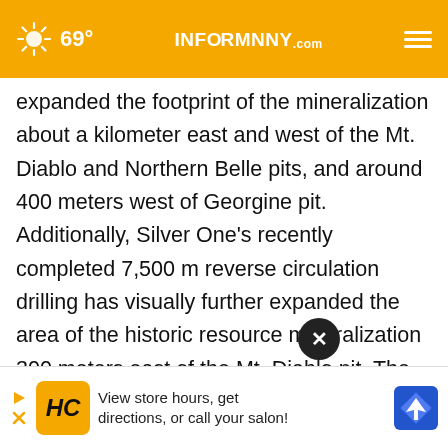69° INFORMNNY.com
expanded the footprint of the mineralization about a kilometer east and west of the Mt. Diablo and Northern Belle pits, and around 400 meters west of Georgine pit. Additionally, Silver One's recently completed 7,500 m reverse circulation drilling has visually further expanded the area of the historic resource mineralization 300 meters east of the Mt. Diablo pit. The total expansion gained with all Silver One's drilling to date is approximately 500 meters west and 400 mete... m the 7,500...
[Figure (screenshot): Ad overlay: HC logo with text 'View store hours, get directions, or call your salon!' and a directions button. Also a close (X) button overlay.]